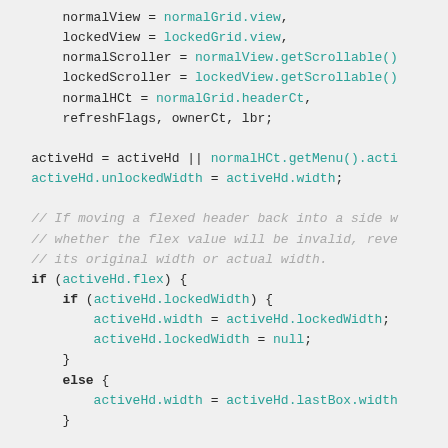[Figure (screenshot): Code snippet showing JavaScript variable assignments and conditional logic for handling flexed headers in a locked/normal grid view. Uses monospace font on light gray background with syntax highlighting: teal for identifiers/methods, dark for keywords and operators, gray italic for comments.]